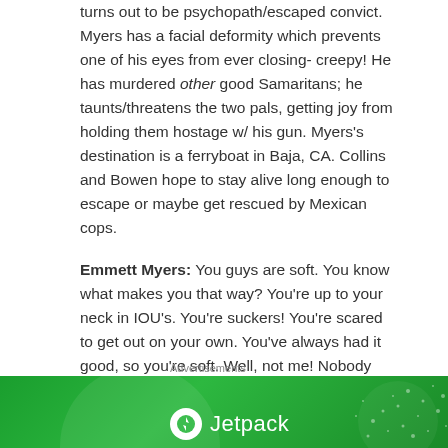turns out to be psychopath/escaped convict. Myers has a facial deformity which prevents one of his eyes from ever closing- creepy! He has murdered other good Samaritans; he taunts/threatens the two pals, getting joy from holding them hostage w/ his gun. Myers's destination is a ferryboat in Baja, CA. Collins and Bowen hope to stay alive long enough to escape or maybe get rescued by Mexican cops.
Emmett Myers: You guys are soft. You know what makes you that way? You're up to your neck in IOU's. You're suckers! You're scared to get out on your own. You've always had it good, so you're soft. Well, not me! Nobody ever gave me anything, so I don't owe nobody!
Advertisements
[Figure (other): Green Jetpack advertisement banner with logo and brand name]